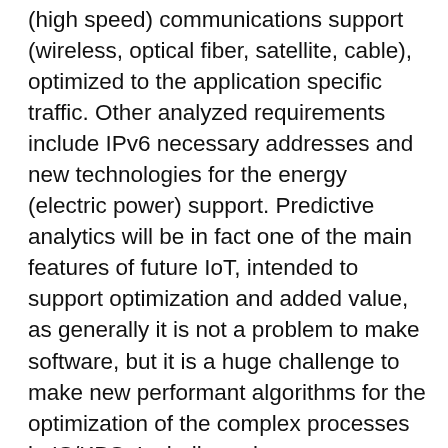(high speed) communications support (wireless, optical fiber, satellite, cable), optimized to the application specific traffic. Other analyzed requirements include IPv6 necessary addresses and new technologies for the energy (electric power) support. Predictive analytics will be in fact one of the main features of future IoT, intended to support optimization and added value, as generally it is not a problem to make software, but it is a huge challenge to make new performant algorithms for the optimization of the complex processes in IS/KBS. Including privacy, confidentiality and the intellectual property issues, the security requirements for IoT will be prominent and very difficult to comply, due to the complexity of interoperability conditions in a planetary network of networks. For implementing performant and complex IoT applications, the main ICT features which are required include: sensing and data collection capability; layers of local embedded